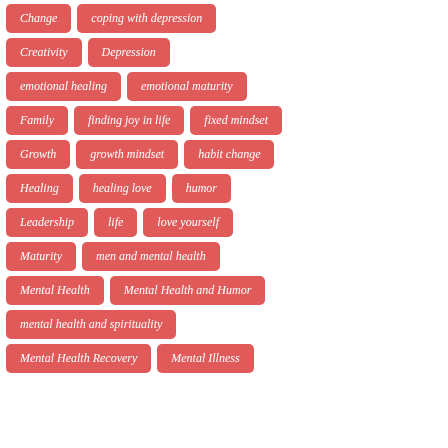Change
coping with depression
Creativity
Depression
emotional healing
emotional maturity
Family
finding joy in life
fixed mindset
Growth
growth mindset
habit change
Healing
healing love
humor
Leadership
life
love yourself
Maturity
men and mental health
Mental Health
Mental Health and Humor
mental health and spirituality
Mental Health Recovery
Mental Illness